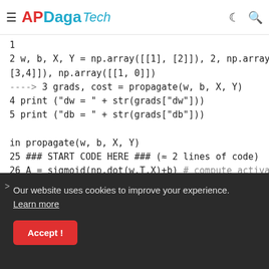APDaga Tech
Traceback (most recent call last):
Info
1
2 w, b, X, Y = np.array([[1], [2]]), 2, np.array([[1,2],
[3,4]]), np.array([[1, 0]])
----> 3 grads, cost = propagate(w, b, X, Y)
4 print ("dw = " + str(grads["dw"]))
5 print ("db = " + str(grads["db"]))

in propagate(w, b, X, Y)
25 ### START CODE HERE ### (≈ 2 lines of code)
26 A = sigmoid(np.dot(w.T,X)+b) # compute activation
---> 27 cost = (-1/m)*np.sum(Y*np.log(A)+(1-Y)*
(np.log(1-A)) # compute cost
Our website uses cookies to improve your experience. Learn more
Accept!